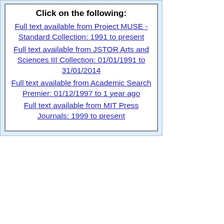Click on the following:
Full text available from Project MUSE - Standard Collection: 1991 to present
Full text available from JSTOR Arts and Sciences III Collection: 01/01/1991 to 31/01/2014
Full text available from Academic Search Premier: 01/12/1997 to 1 year ago
Full text available from MIT Press Journals: 1999 to present
| Field | Value |
| --- | --- |
| Subject | Music -- 20th century -- Periodicals. |
|  | Music theory -- History -- 20th century -- Periodicals. |
|  | Sound -- Periodicals. |
|  | Music and science -- Periodicals. |
| Frequency | Annual |
| Pub Date | Vol. 1, no. 1 (1991)- |